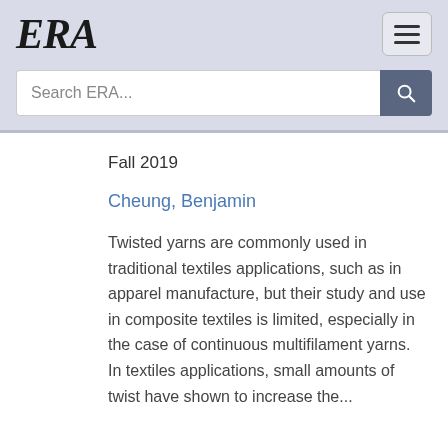ERA
Search ERA...
Fall 2019
Cheung, Benjamin
Twisted yarns are commonly used in traditional textiles applications, such as in apparel manufacture, but their study and use in composite textiles is limited, especially in the case of continuous multifilament yarns. In textiles applications, small amounts of twist have shown to increase the...